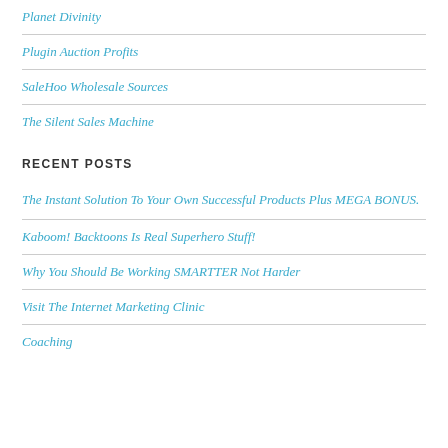Planet Divinity
Plugin Auction Profits
SaleHoo Wholesale Sources
The Silent Sales Machine
RECENT POSTS
The Instant Solution To Your Own Successful Products Plus MEGA BONUS.
Kaboom! Backtoons Is Real Superhero Stuff!
Why You Should Be Working SMARTTER Not Harder
Visit The Internet Marketing Clinic
Coaching